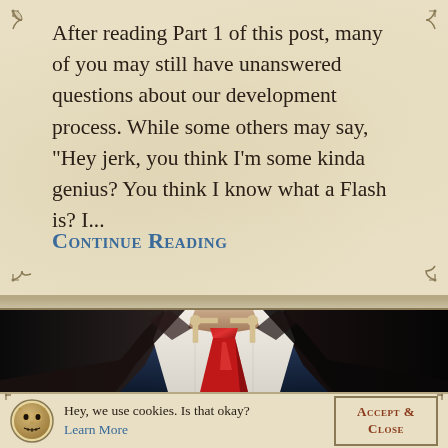After reading Part 1 of this post, many of you may still have unanswered questions about our development process. While some others may say, "Hey jerk, you think I'm some kinda genius? You think I know what a Flash is? I...
Continue Reading
[Figure (photo): Cropped photo of a man in a dark suit with white shirt and red tie, head not visible, dark blue background]
Hey, we use cookies. Is that okay? Learn More
Accept & Close